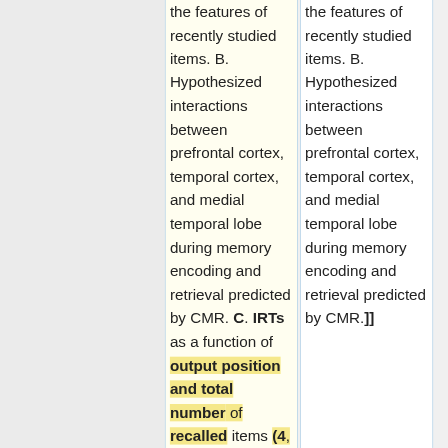the features of recently studied items. B. Hypothesized interactions between prefrontal cortex, temporal cortex, and medial temporal lobe during memory encoding and retrieval predicted by CMR. C. IRTs as a function of output position and total number of recalled items (4, 5, 6 or 7). D. Serial position curves for list length (bb) of
the features of recently studied items. B. Hypothesized interactions between prefrontal cortex, temporal cortex, and medial temporal lobe during memory encoding and retrieval predicted by CMR.]]